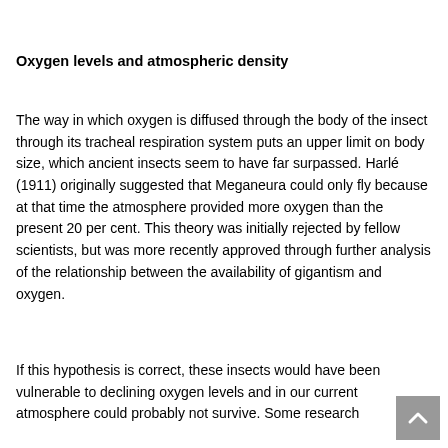Oxygen levels and atmospheric density
The way in which oxygen is diffused through the body of the insect through its tracheal respiration system puts an upper limit on body size, which ancient insects seem to have far surpassed. Harlé (1911) originally suggested that Meganeura could only fly because at that time the atmosphere provided more oxygen than the present 20 per cent. This theory was initially rejected by fellow scientists, but was more recently approved through further analysis of the relationship between the availability of gigantism and oxygen.
If this hypothesis is correct, these insects would have been vulnerable to declining oxygen levels and in our current atmosphere could probably not survive. Some research